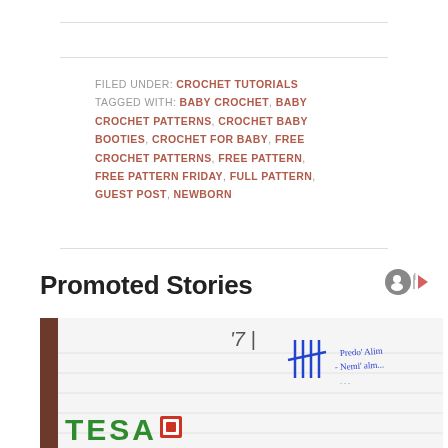FILED UNDER: CROCHET TUTORIALS TAGGED WITH: BABY CROCHET, BABY CROCHET PATTERNS, CROCHET BABY BOOTIES, CROCHET FOR BABY, FREE CROCHET PATTERNS, FREE PATTERN, FREE PATTERN FRIDAY, FULL PATTERN, GUEST POST, NEWBORN
Promoted Stories
[Figure (photo): Photo showing a notebook or document with handwriting in blue ink, and a TESA branded label/logo in green at the bottom left]